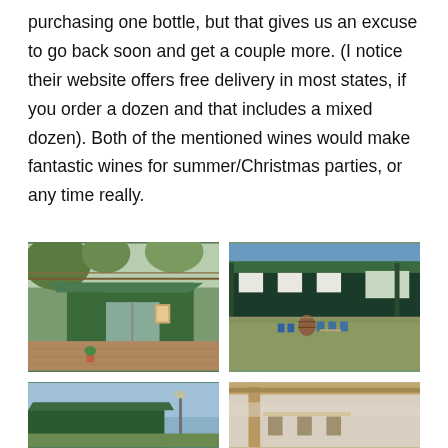purchasing one bottle, but that gives us an excuse to go back soon and get a couple more. (I notice their website offers free delivery in most states, if you order a dozen and that includes a mixed dozen). Both of the mentioned wines would make fantastic wines for summer/Christmas parties, or any time really.
[Figure (photo): Winery entrance with green corrugated iron shed, sliding glass doors, covered patio area, trees and garden plants surrounding the entrance]
[Figure (photo): Winery courtyard and lawn area with green roof building in the background, outdoor seating with blue chairs visible, open grassy area under blue sky]
[Figure (photo): Green roof winery building exterior with a lamp post visible, bright sky]
[Figure (photo): Outdoor seating area with wooden pergola/veranda structure, tables and chairs visible]